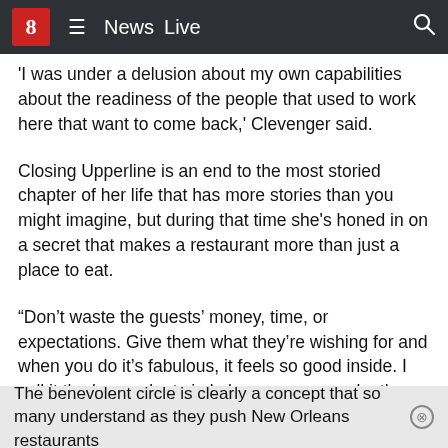8  ≡  News  Live  🔍
'I was under a delusion about my own capabilities about the readiness of the people that used to work here that want to come back,' Clevenger said.
Closing Upperline is an end to the most storied chapter of her life that has more stories than you might imagine, but during that time she's honed in on a secret that makes a restaurant more than just a place to eat.
“Don’t waste the guests’ money, time, or expectations. Give them what they’re wishing for and when you do it’s fabulous, it feels so good inside. I call it the benevolent circle because you make them feel fabulous and they give you all this praise and make you want to come back and do it tomorrow,” Clevenger said.
The benevolent circle is clearly a concept that so many understand as they push New Orleans restaurants